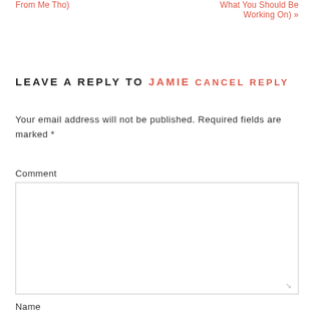From Me Tho)
What You Should Be Working On) »
LEAVE A REPLY TO JAMIE CANCEL REPLY
Your email address will not be published. Required fields are marked *
Comment
Name